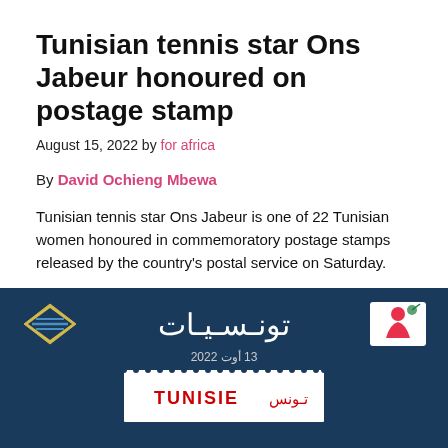Tunisian tennis star Ons Jabeur honoured on postage stamp
August 15, 2022 by for africa
By David Ochieng Mbewa
Tunisian tennis star Ons Jabeur is one of 22 Tunisian women honoured in commemoratory postage stamps released by the country's postal service on Saturday.
The stamps were issued to celebrate women who have influenced the country's course of history and events on the day the North African nation marked National Women's Day.
[Figure (photo): Dark navy blue banner image showing Arabic text 'تونسيات' (Tunisians) at top with logos on either side, Arabic date '13 أوت 2022', and at the bottom a partial postage stamp preview showing 'TUNISIE' in red and Arabic text]